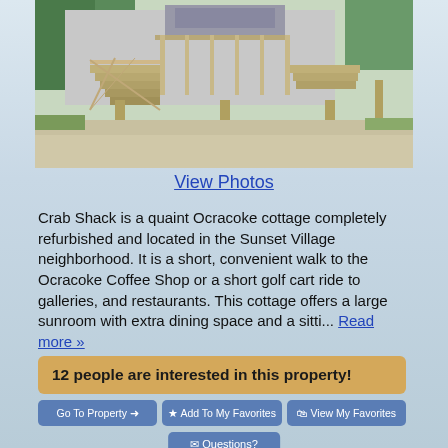[Figure (photo): Exterior photo of Crab Shack cottage on Ocracoke, showing a raised structure with wooden stairs and lattice work underneath, on sandy ground with green trees in background]
View Photos
Crab Shack is a quaint Ocracoke cottage completely refurbished and located in the Sunset Village neighborhood. It is a short, convenient walk to the Ocracoke Coffee Shop or a short golf cart ride to galleries, and restaurants. This cottage offers a large sunroom with extra dining space and a sitti... Read more »
12 people are interested in this property!
Go To Property →
★ Add To My Favorites
🛍 View My Favorites
✉ Questions?